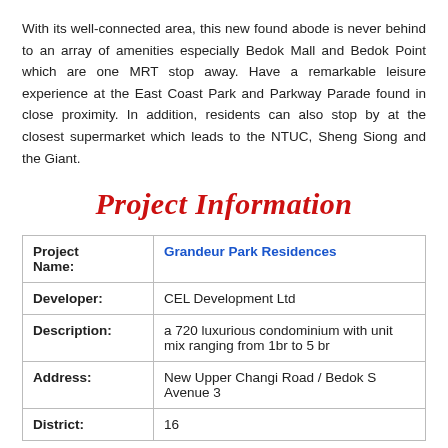With its well-connected area, this new found abode is never behind to an array of amenities especially Bedok Mall and Bedok Point which are one MRT stop away. Have a remarkable leisure experience at the East Coast Park and Parkway Parade found in close proximity. In addition, residents can also stop by at the closest supermarket which leads to the NTUC, Sheng Siong and the Giant.
Project Information
| Project Name: | Grandeur Park Residences |
| Developer: | CEL Development Ltd |
| Description: | a 720 luxurious condominium with unit mix ranging from 1br to 5 br |
| Address: | New Upper Changi Road / Bedok South Avenue 3 |
| District: | 16 |